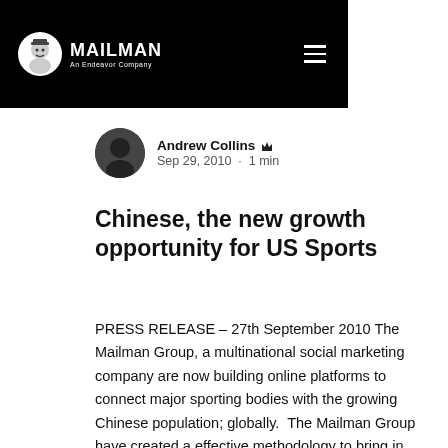MAILMAN An Endeavor Company
Andrew Collins  Sep 29, 2010 · 1 min
Chinese, the new growth opportunity for US Sports
PRESS RELEASE – 27th September 2010 The Mailman Group, a multinational social marketing company are now building online platforms to connect major sporting bodies with the growing Chinese population; globally. The Mailman Group have created a effective methodology to bring in vast amounts of Chinese online